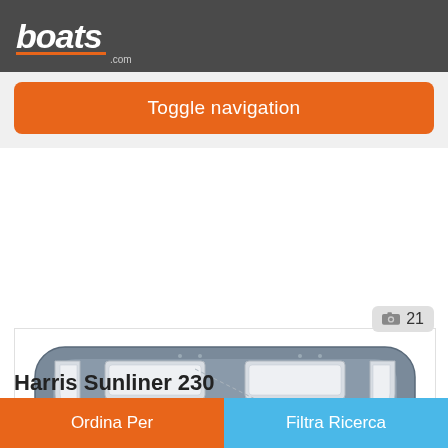boats.com
Toggle navigation
[Figure (illustration): Top-down floor plan schematic of a Harris Sunliner 230 pontoon boat, showing seating layout including wraparound benches, captain's chair, helm station, and open deck area. The boat is rendered in gray and white tones.]
Harris Sunliner 230
Commerce Township, Michigan, Stati Uniti
Ordina Per | Filtra Ricerca